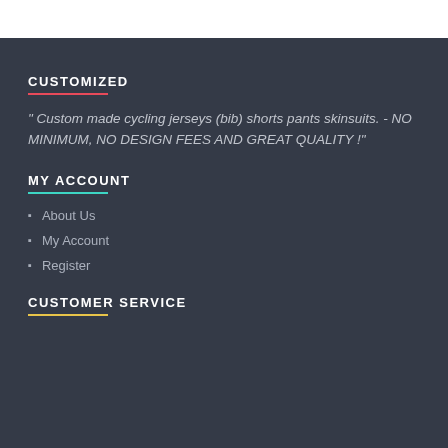CUSTOMIZED
" Custom made cycling jerseys (bib) shorts pants skinsuits. - NO MINIMUM, NO DESIGN FEES AND GREAT QUALITY !"
MY ACCOUNT
About Us
My Account
Register
CUSTOMER SERVICE